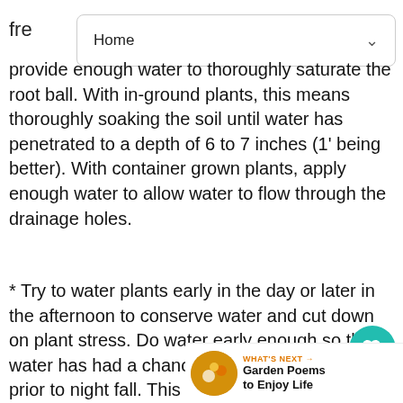fre  Home
provide enough water to thoroughly saturate the root ball. With in-ground plants, this means thoroughly soaking the soil until water has penetrated to a depth of 6 to 7 inches (1' being better). With container grown plants, apply enough water to allow water to flow through the drainage holes.
* Try to water plants early in the day or later in the afternoon to conserve water and cut down on plant stress. Do water early enough so the water has had a chance to dry from plant leaves prior to night fall. This is para... you have had fungus problems.